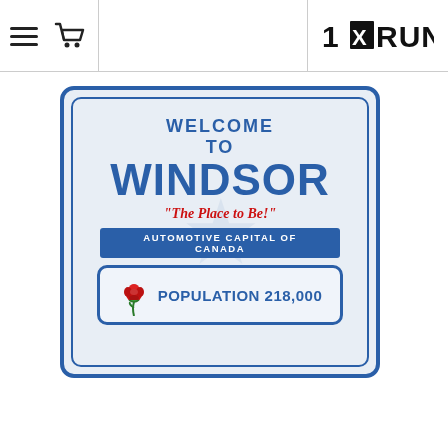1RUN (with hamburger menu and cart icon)
[Figure (photo): Welcome to Windsor sign — 'The Place to Be!' Automotive Capital of Canada, Population 218,000, with a red rose illustration and city watermark in background.]